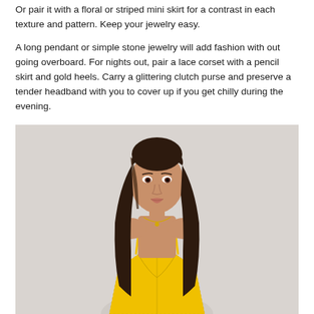Or pair it with a floral or striped mini skirt for a contrast in each texture and pattern. Keep your jewelry easy.
A long pendant or simple stone jewelry will add fashion with out going overboard. For nights out, pair a lace corset with a pencil skirt and gold heels. Carry a glittering clutch purse and preserve a tender headband with you to cover up if you get chilly during the evening.
[Figure (photo): A young woman with long dark brown hair wearing a yellow lace corset top and a delicate gold necklace, photographed against a light gray background.]